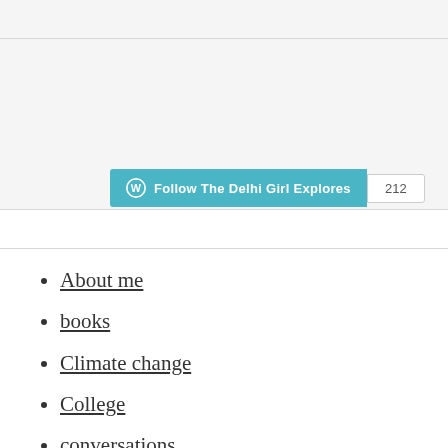[Figure (screenshot): WordPress Follow button widget showing 'Follow The Delhi Girl Explores' in teal with follower count badge showing 212]
About me
books
Climate change
College
conversations